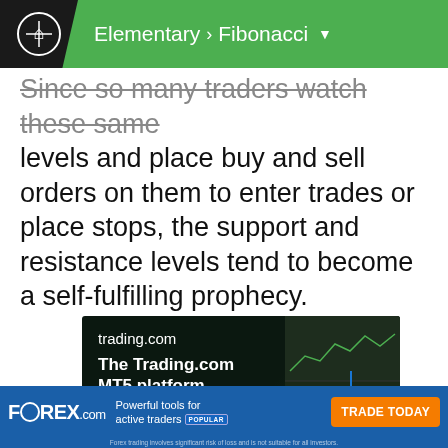Elementary > Fibonacci
Since so many traders watch these same levels and place buy and sell orders on them to enter trades or place stops, the support and resistance levels tend to become a self-fulfilling prophecy.
[Figure (screenshot): Advertisement for trading.com MT5 platform showing 'The Trading.com MT5 platform' with subtitle 'Trade forex on your own terms' in green, dark background with chart screenshot on right side]
[Figure (infographic): FOREX.com banner ad: 'Powerful tools for active traders POPULAR' with orange TRADE TODAY button and disclaimer text]